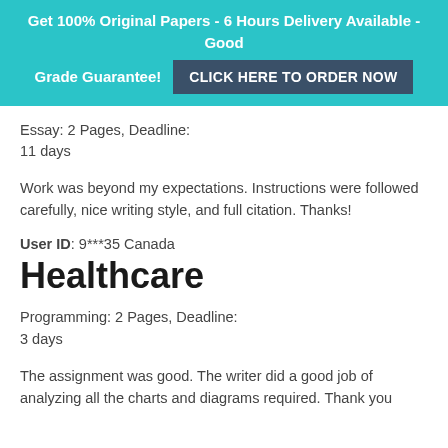Get 100% Original Papers - 6 Hours Delivery Available - Good Grade Guarantee! CLICK HERE TO ORDER NOW
Essay: 2 Pages, Deadline:
11 days
Work was beyond my expectations. Instructions were followed carefully, nice writing style, and full citation. Thanks!
User ID: 9***35 Canada
Healthcare
Programming: 2 Pages, Deadline:
3 days
The assignment was good. The writer did a good job of analyzing all the charts and diagrams required. Thank you